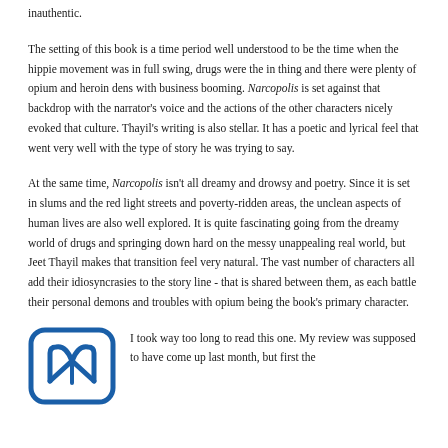inauthentic.
The setting of this book is a time period well understood to be the time when the hippie movement was in full swing, drugs were the in thing and there were plenty of opium and heroin dens with business booming. Narcopolis is set against that backdrop with the narrator's voice and the actions of the other characters nicely evoked that culture. Thayil's writing is also stellar. It has a poetic and lyrical feel that went very well with the type of story he was trying to say.
At the same time, Narcopolis isn't all dreamy and drowsy and poetry. Since it is set in slums and the red light streets and poverty-ridden areas, the unclean aspects of human lives are also well explored. It is quite fascinating going from the dreamy world of drugs and springing down hard on the messy unappealing real world, but Jeet Thayil makes that transition feel very natural. The vast number of characters all add their idiosyncrasies to the story line - that is shared between them, as each battle their personal demons and troubles with opium being the book's primary character.
[Figure (logo): Blue rounded rectangle icon with a stylized book or reading symbol inside]
I took way too long to read this one. My review was supposed to have come up last month, but first the